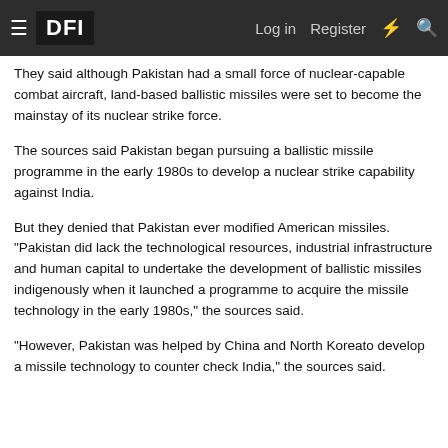DFI | Log in | Register
They said although Pakistan had a small force of nuclear-capable combat aircraft, land-based ballistic missiles were set to become the mainstay of its nuclear strike force.
The sources said Pakistan began pursuing a ballistic missile programme in the early 1980s to develop a nuclear strike capability against India.
But they denied that Pakistan ever modified American missiles. "Pakistan did lack the technological resources, industrial infrastructure and human capital to undertake the development of ballistic missiles indigenously when it launched a programme to acquire the missile technology in the early 1980s," the sources said.
"However, Pakistan was helped by China and North Koreato develop a missile technology to counter check India," the sources said.